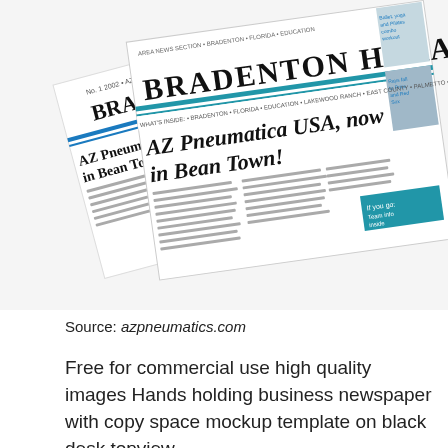[Figure (photo): Bradenton Herald newspapers fanned out, with headline 'AZ Pneumatica USA, now in Bean Town!' and sports photos on right side]
Source: azpneumatics.com
Free for commercial use high quality images Hands holding business newspaper with copy space mockup template on black desk topview.
[Figure (photo): Black and white photo of newspaper mockup showing 'NEWSPAPER MOCKUPS' in red text with eagle graphic and 'Newspaper Advert Mockup' document in front]